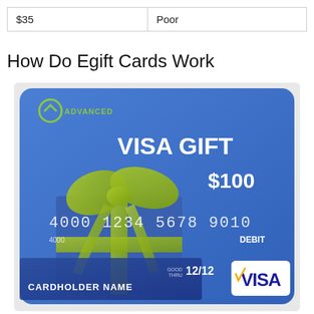| $35 | Poor |
How Do Egift Cards Work
[Figure (photo): A blue Visa Gift Card with a green bow/ribbon on top of a gift box graphic. Card shows: ADVANCED logo, VISA GIFT, $100, card number 4000 1234 5678 9010, expiry 12/12, CARDHOLDER NAME, DEBIT, and VISA logo.]